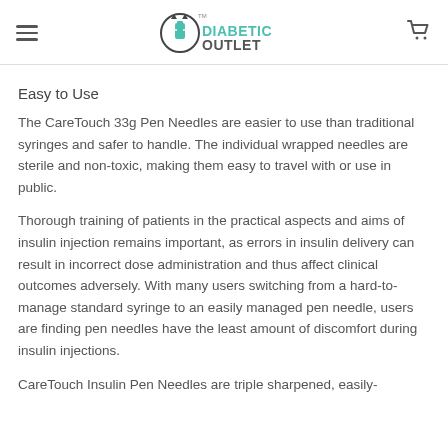DIABETIC OUTLET
Easy to Use
The CareTouch 33g Pen Needles are easier to use than traditional syringes and safer to handle. The individual wrapped needles are sterile and non-toxic, making them easy to travel with or use in public.
Thorough training of patients in the practical aspects and aims of insulin injection remains important, as errors in insulin delivery can result in incorrect dose administration and thus affect clinical outcomes adversely. With many users switching from a hard-to-manage standard syringe to an easily managed pen needle, users are finding pen needles have the least amount of discomfort during insulin injections.
CareTouch Insulin Pen Needles are triple sharpened, easily-